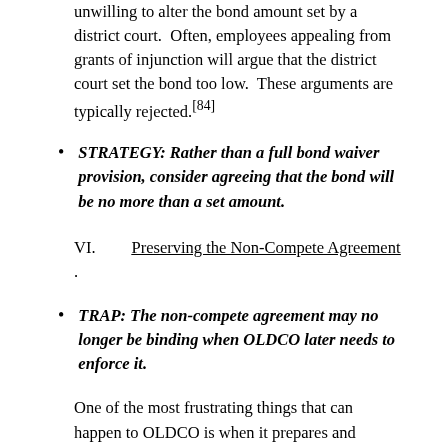unwilling to alter the bond amount set by a district court.  Often, employees appealing from grants of injunction will argue that the district court set the bond too low.  These arguments are typically rejected.[84]
STRATEGY: Rather than a full bond waiver provision, consider agreeing that the bond will be no more than a set amount.
VI.          Preserving the Non-Compete Agreement.
TRAP: The non-compete agreement may no longer be binding when OLDCO later needs to enforce it.
One of the most frustrating things that can happen to OLDCO is when it prepares and implements an otherwise perfectly enforceable non-compete agreement that later becomes null and void or cannot as a